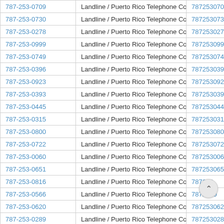| Phone | Type | Number |
| --- | --- | --- |
| 787-253-0709 | Landline / Puerto Rico Telephone Co. | 7872530709 |
| 787-253-0730 | Landline / Puerto Rico Telephone Co. | 7872530730 |
| 787-253-0278 | Landline / Puerto Rico Telephone Co. | 7872530278 |
| 787-253-0999 | Landline / Puerto Rico Telephone Co. | 7872530999 |
| 787-253-0749 | Landline / Puerto Rico Telephone Co. | 7872530749 |
| 787-253-0396 | Landline / Puerto Rico Telephone Co. | 7872530396 |
| 787-253-0923 | Landline / Puerto Rico Telephone Co. | 7872530923 |
| 787-253-0393 | Landline / Puerto Rico Telephone Co. | 7872530393 |
| 787-253-0445 | Landline / Puerto Rico Telephone Co. | 7872530445 |
| 787-253-0315 | Landline / Puerto Rico Telephone Co. | 7872530315 |
| 787-253-0800 | Landline / Puerto Rico Telephone Co. | 7872530800 |
| 787-253-0722 | Landline / Puerto Rico Telephone Co. | 7872530722 |
| 787-253-0060 | Landline / Puerto Rico Telephone Co. | 7872530060 |
| 787-253-0651 | Landline / Puerto Rico Telephone Co. | 7872530651 |
| 787-253-0816 | Landline / Puerto Rico Telephone Co. | 787253… |
| 787-253-0566 | Landline / Puerto Rico Telephone Co. | 7872530… |
| 787-253-0620 | Landline / Puerto Rico Telephone Co. | 7872530620 |
| 787-253-0289 | Landline / Puerto Rico Telephone Co. | 7872530289 |